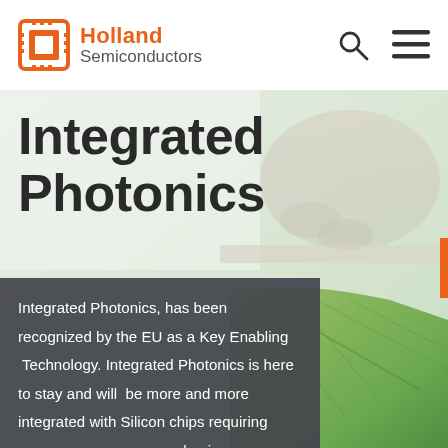Holland Semiconductors
[Figure (logo): Holland Semiconductors orange chip logo with company name]
Integrated Photonics
[Figure (photo): Background photo showing gloved hand and green silicon chip/leaf with laboratory setting]
Integrated Photonics, has been recognized by the EU as a Key Enabling Technology. Integrated Photonics is here to stay and will be more and more integrated with Silicon chips requiring new processes, new packaging